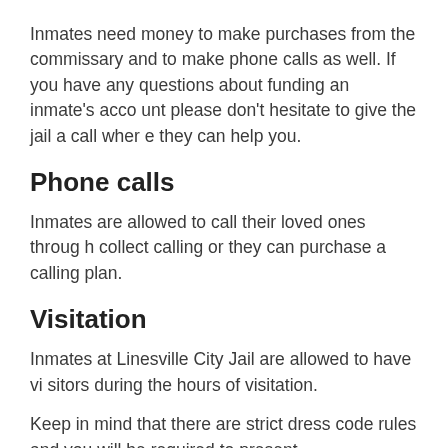Inmates need money to make purchases from the commissary and to make phone calls as well. If you have any questions about funding an inmate's account please don't hesitate to give the jail a call where they can help you.
Phone calls
Inmates are allowed to call their loved ones through collect calling or they can purchase a calling plan.
Visitation
Inmates at Linesville City Jail are allowed to have visitors during the hours of visitation.
Keep in mind that there are strict dress code rules and you will be required to present…